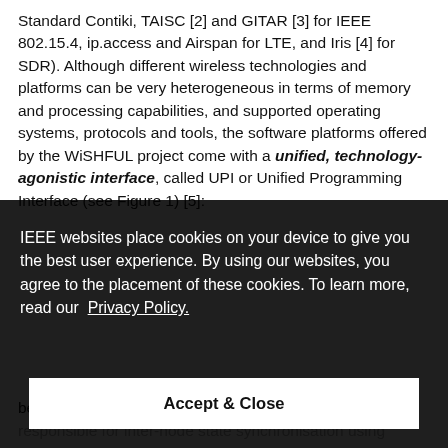Standard Contiki, TAISC [2] and GITAR [3] for IEEE 802.15.4, ip.access and Airspan for LTE, and Iris [4] for SDR). Although different wireless technologies and platforms can be very heterogeneous in terms of memory and processing capabilities, and supported operating systems, protocols and tools, the software platforms offered by the WiSHFUL project come with a unified, technology-agonistic interface, called UPI or Unified Programming Interface (see Figure 1) [5]:
[Figure (screenshot): IEEE cookie consent overlay dialog covering part of the document text. The overlay contains text: 'IEEE websites place cookies on your device to give you the best user experience. By using our websites, you agree to the placement of these cookies. To learn more, read our Privacy Policy.' with an 'Accept & Close' button at the bottom.]
behaviour across various devices. The upper MAC is responsible for inter-node state synchronisation using